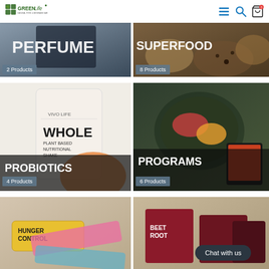[Figure (screenshot): Green Life Natural Food & Beverage Bar website header with logo, hamburger menu, search icon, and cart icon with badge showing 0]
[Figure (photo): PERFUME category card showing dark/black product with overlay text PERFUME]
2 Products
[Figure (photo): SUPERFOOD category card showing seeds, legumes in bowls]
8 Products
[Figure (photo): PROBIOTICS category card showing Vivo Life WHOLE Plant Based Nutritional Shake product bag]
4 Products
[Figure (photo): PROGRAMS category card showing colorful Buddha bowl salad]
6 Products
[Figure (photo): HUNGER CONTROL category card showing energy bars and snack bars]
[Figure (photo): BEETROOT product category card showing beetroot products]
Chat with us